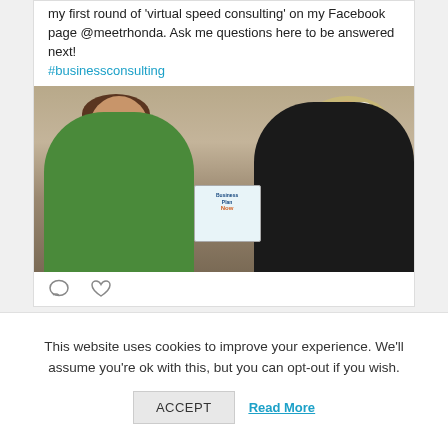my first round of 'virtual speed consulting' on my Facebook page @meetrhonda. Ask me questions here to be answered next! #businessconsulting
[Figure (photo): Two women seated, one in a green jacket on the left facing right, and one in a black and pink patterned cardigan on the right. The woman on the right is holding a book titled 'Business Plan Now'.]
This website uses cookies to improve your experience. We'll assume you're ok with this, but you can opt-out if you wish.